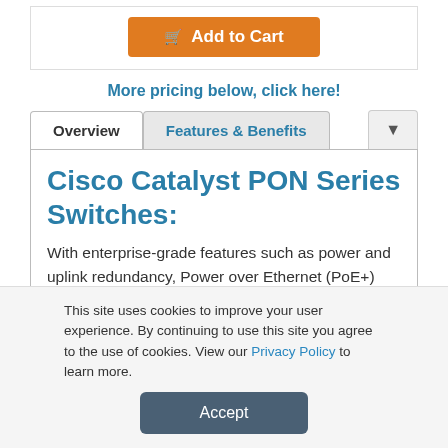[Figure (other): Add to Cart button (orange) with shopping cart icon]
More pricing below, click here!
Overview | Features & Benefits | (dropdown)
Cisco Catalyst PON Series Switches:
With enterprise-grade features such as power and uplink redundancy, Power over Ethernet (PoE+) and simple, low-cost operations, the Cisco Catalyst PON Series gives you what you need today, in a simple, safe, and cost-effective GPON solution.
This site uses cookies to improve your user experience. By continuing to use this site you agree to the use of cookies. View our Privacy Policy to learn more.
[Figure (other): Accept button (dark blue-grey) for cookie consent]